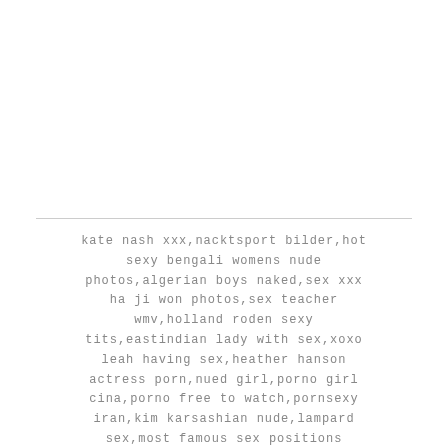kate nash xxx,nacktsport bilder,hot sexy bengali womens nude photos,algerian boys naked,sex xxx ha ji won photos,sex teacher wmv,holland roden sexy tits,eastindian lady with sex,xoxo leah having sex,heather hanson actress porn,nued girl,porno girl cina,porno free to watch,pornsexy iran,kim karsashian nude,lampard sex,most famous sex positions